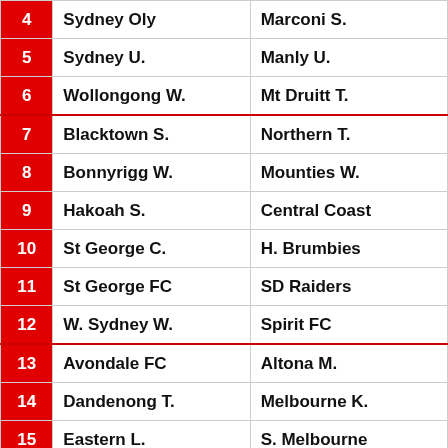| # | Team 1 | Team 2 |
| --- | --- | --- |
| 4 | Sydney Oly | Marconi S. |
| 5 | Sydney U. | Manly U. |
| 6 | Wollongong W. | Mt Druitt T. |
| 7 | Blacktown S. | Northern T. |
| 8 | Bonnyrigg W. | Mounties W. |
| 9 | Hakoah S. | Central Coast |
| 10 | St George C. | H. Brumbies |
| 11 | St George FC | SD Raiders |
| 12 | W. Sydney W. | Spirit FC |
| 13 | Avondale FC | Altona M. |
| 14 | Dandenong T. | Melbourne K. |
| 15 | Eastern L. | S. Melbourne |
| 16 | Heidelberg U. | Oakleigh C. |